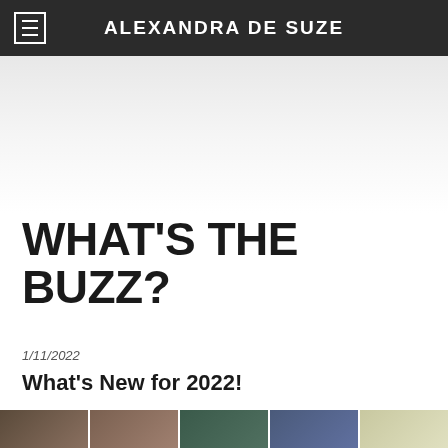ALEXANDRA DE SUZE
[Figure (photo): Person with dark curly hair partially visible at top of hero image area against dark background]
WHAT'S THE BUZZ?
1/11/2022
What's New for 2022!
[Figure (photo): Thumbnail strip of multiple small images at bottom of the page]